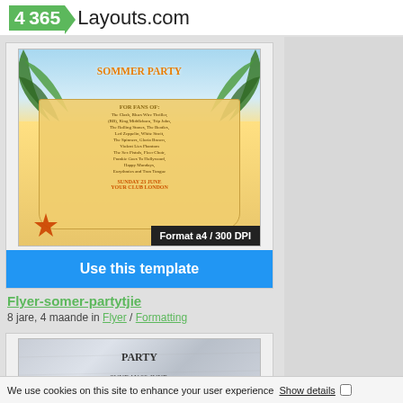365Layouts.com
[Figure (screenshot): Summer party flyer template thumbnail showing a beach scene with palm trees, sand scroll, 'SOMMER PARTY' title in orange, 'FOR FANS OF' section with band names, and 'SUNDAY 23 JUNE YOUR CLUB LONDON' at bottom. A dark tooltip overlay reads 'Format a4 / 300 DPI'.]
Use this template
Flyer-somer-partytjie
8 jare, 4 maande in Flyer / Formatting
[Figure (screenshot): Second party flyer template thumbnail showing a crumpled paper background with 'PARTY', 'SUNDAY 23 JUNE,' and 'YOUR CLUB LONDON' text.]
We use cookies on this site to enhance your user experience  Show details